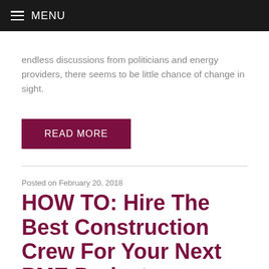MENU
endless discussions from politicians and energy providers, there seems to be little chance of change in sight.
READ MORE
Posted on February 20, 2018
HOW TO: Hire The Best Construction Crew For Your Next PME Project.